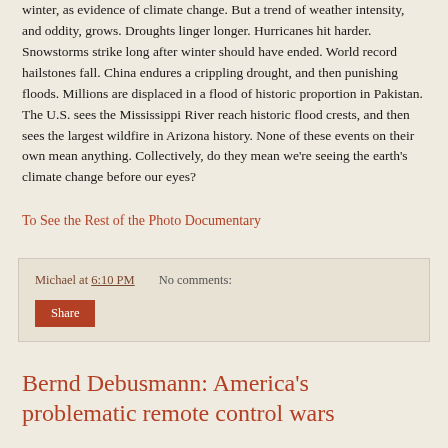winter, as evidence of climate change. But a trend of weather intensity, and oddity, grows. Droughts linger longer. Hurricanes hit harder. Snowstorms strike long after winter should have ended. World record hailstones fall. China endures a crippling drought, and then punishing floods. Millions are displaced in a flood of historic proportion in Pakistan. The U.S. sees the Mississippi River reach historic flood crests, and then sees the largest wildfire in Arizona history. None of these events on their own mean anything. Collectively, do they mean we're seeing the earth's climate change before our eyes?
To See the Rest of the Photo Documentary
Michael at 6:10 PM    No comments:
Share
Bernd Debusmann: America's problematic remote control wars